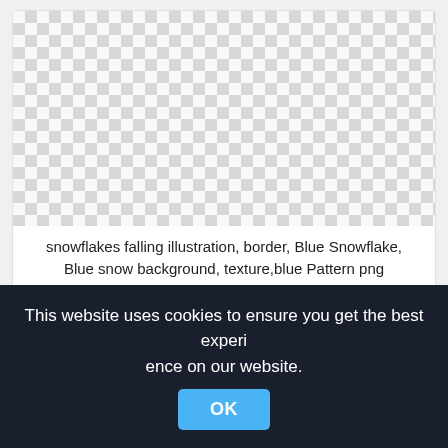[Figure (illustration): Checkerboard transparency pattern representing a PNG image of snowflakes falling illustration with blue snowflake border]
snowflakes falling illustration, border, Blue Snowflake, Blue snow background, texture,blue Pattern png
2000x2208px
[Figure (illustration): Second checkerboard transparency pattern, partially visible]
This website uses cookies to ensure you get the best experience on our website.